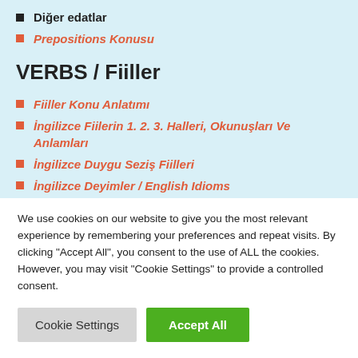Diğer edatlar
Prepositions Konusu
VERBS / Fiiller
Fiiller Konu Anlatımı
İngilizce Fiilerin 1. 2. 3. Halleri, Okunuşları Ve Anlamları
İngilizce Duygu Seziş Fiilleri
İngilizce Deyimler / English Idioms
Phrasal verbs
We use cookies on our website to give you the most relevant experience by remembering your preferences and repeat visits. By clicking "Accept All", you consent to the use of ALL the cookies. However, you may visit "Cookie Settings" to provide a controlled consent.